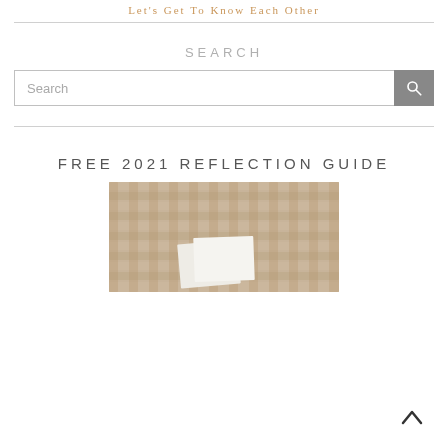Let's Get To Know Each Other
SEARCH
[Figure (screenshot): Search bar with text input field reading 'Search' and a grey search button with magnifying glass icon]
FREE 2021 REFLECTION GUIDE
[Figure (photo): Photo of a woven rattan tray with papers/notebook on a neutral textured background]